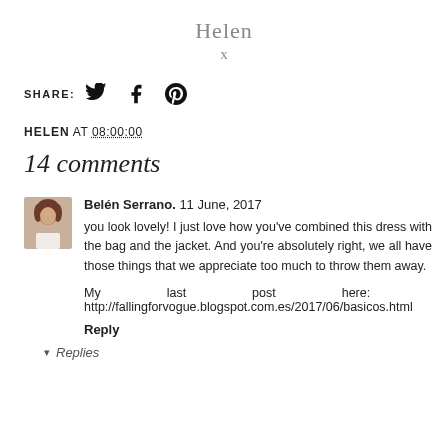Helen
x
SHARE:
HELEN AT 08:00:00
14 comments
Belén Serrano.  11 June, 2017
you look lovely! I just love how you've combined this dress with the bag and the jacket. And you're absolutely right, we all have those things that we appreciate too much to throw them away.
My last post here: http://fallingforvogue.blogspot.com.es/2017/06/basicos.html
Reply
Replies